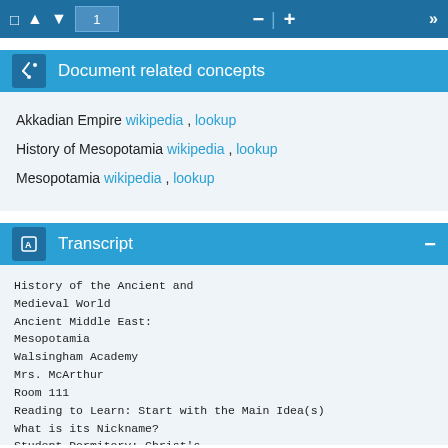1
Document related concepts
Akkadian Empire wikipedia , lookup
History of Mesopotamia wikipedia , lookup
Mesopotamia wikipedia , lookup
Transcript
History of the Ancient and
Medieval World
Ancient Middle East:
Mesopotamia
Walsingham Academy
Mrs. McArthur
Room 111
Reading to Learn: Start with the Main Idea(s)
What is its Nickname?
Student Dormitory: Christ's
College, Cambridge